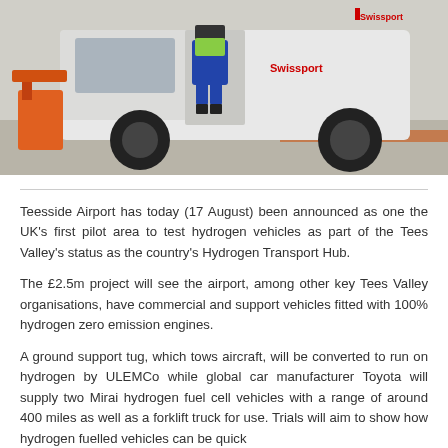[Figure (photo): A ground support tug vehicle at an airport with a worker in high-visibility vest visible. The vehicle is white with 'Swissport' branding visible on the side, with large black tires.]
Teesside Airport has today (17 August) been announced as one the UK's first pilot area to test hydrogen vehicles as part of the Tees Valley's status as the country's Hydrogen Transport Hub.
The £2.5m project will see the airport, among other key Tees Valley organisations, have commercial and support vehicles fitted with 100% hydrogen zero emission engines.
A ground support tug, which tows aircraft, will be converted to run on hydrogen by ULEMCo while global car manufacturer Toyota will supply two Mirai hydrogen fuel cell vehicles with a range of around 400 miles as well as a forklift truck for use. Trials will aim to show how hydrogen fuelled vehicles can be quick and convenient in use, for hydrogen is really exciting and...